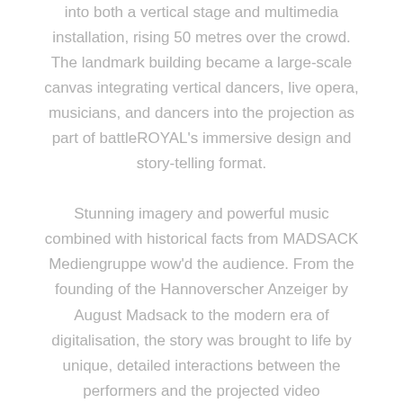into both a vertical stage and multimedia installation, rising 50 metres over the crowd. The landmark building became a large-scale canvas integrating vertical dancers, live opera, musicians, and dancers into the projection as part of battleROYAL's immersive design and story-telling format.

Stunning imagery and powerful music combined with historical facts from MADSACK Mediengruppe wow'd the audience. From the founding of the Hannoverscher Anzeiger by August Madsack to the modern era of digitalisation, the story was brought to life by unique, detailed interactions between the performers and the projected video